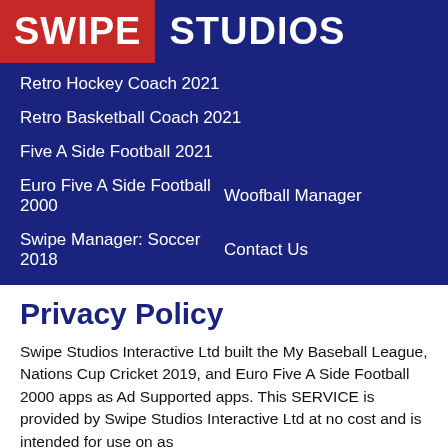[Figure (logo): Swipe Studios logo with red background for SWIPE and dark blue background for STUDIOS, white bold text]
Retro Hockey Coach 2021
Retro Basketball Coach 2021
Five A Side Football 2021
Euro Five A Side Football 2000    Woofball Manager
Swipe Manager: Soccer 2018    Contact Us
Privacy Policy
Swipe Studios Interactive Ltd built the My Baseball League, Nations Cup Cricket 2019, and Euro Five A Side Football 2000 apps as Ad Supported apps. This SERVICE is provided by Swipe Studios Interactive Ltd at no cost and is intended for use on as